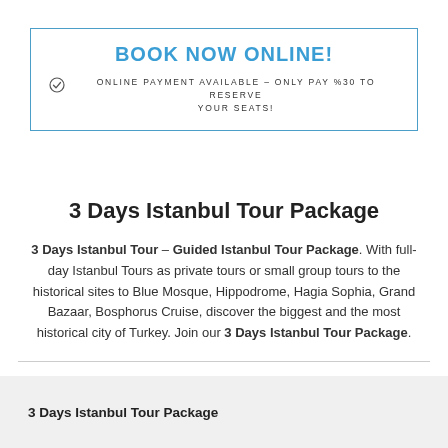BOOK NOW ONLINE!
ONLINE PAYMENT AVAILABLE – ONLY PAY %30 TO RESERVE YOUR SEATS!
3 Days Istanbul Tour Package
3 Days Istanbul Tour – Guided Istanbul Tour Package. With full-day Istanbul Tours as private tours or small group tours to the historical sites to Blue Mosque, Hippodrome, Hagia Sophia, Grand Bazaar, Bosphorus Cruise, discover the biggest and the most historical city of Turkey. Join our 3 Days Istanbul Tour Package.
3 Days Istanbul Tour Package